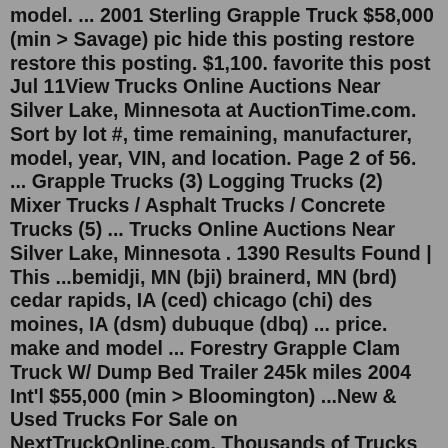model. ... 2001 Sterling Grapple Truck $58,000 (min > Savage) pic hide this posting restore restore this posting. $1,100. favorite this post Jul 11View Trucks Online Auctions Near Silver Lake, Minnesota at AuctionTime.com. Sort by lot #, time remaining, manufacturer, model, year, VIN, and location. Page 2 of 56. ... Grapple Trucks (3) Logging Trucks (2) Mixer Trucks / Asphalt Trucks / Concrete Trucks (5) ... Trucks Online Auctions Near Silver Lake, Minnesota . 1390 Results Found | This ...bemidji, MN (bji) brainerd, MN (brd) cedar rapids, IA (ced) chicago (chi) des moines, IA (dsm) dubuque (dbq) ... price. make and model ... Forestry Grapple Clam Truck W/ Dump Bed Trailer 245k miles 2004 Int'l $55,000 (min > Bloomington) ...New & Used Trucks For Sale on NextTruckOnline.com. Thousands of Trucks listings on NextTruckOnline.com ... Minnesota (3,429) Tennessee (2,712) Ohio (2,584) North Carolina (2,421) Virginia (2,332) ... JUSTIN (1,126) WILMER (969) Fontana (934) Show More. Want To Buy. Email me price drops and new results for this search. By